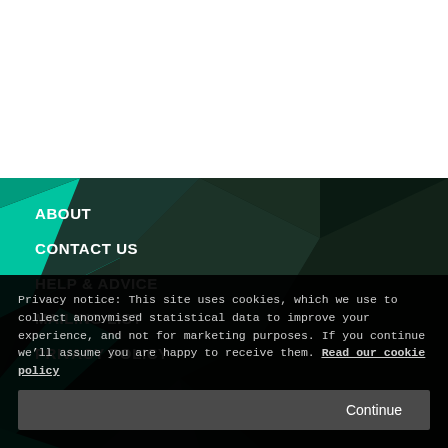[Figure (illustration): White area at top of page (navigation panel background)]
[Figure (illustration): Dark teal/green geometric polygon background covering lower portion of the page with angular facets in dark green and bright teal colors]
ABOUT
CONTACT US
HELP & ADVICE
MAILING LIST
PRIVACY POLICY
Privacy notice: This site uses cookies, which we use to collect anonymised statistical data to improve your experience, and not for marketing purposes. If you continue we'll assume you are happy to receive them. Read our cookie policy
Continue